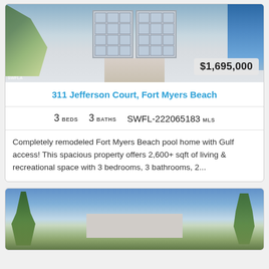[Figure (photo): Aerial/front view of a Fort Myers Beach pool home with two-car garage, palm trees, and driveway. Price badge showing $1,695,000 in lower right corner.]
311 Jefferson Court, Fort Myers Beach
3 BEDS   3 BATHS   SWFL-222065183 MLS
Completely remodeled Fort Myers Beach pool home with Gulf access! This spacious property offers 2,600+ sqft of living & recreational space with 3 bedrooms, 3 bathrooms, 2...
[Figure (photo): Aerial view of a Fort Myers Beach property with palm trees, blue sky with clouds, and a house with a striped roof visible in the background.]